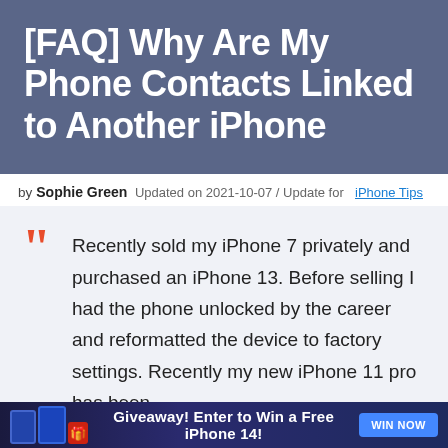[FAQ] Why Are My Phone Contacts Linked to Another iPhone
by Sophie Green  Updated on 2021-10-07 / Update for  iPhone Tips
Recently sold my iPhone 7 privately and purchased an iPhone 13. Before selling I had the phone unlocked by the career and reformatted the device to factory settings. Recently my new iPhone 11 pro has been
[Figure (infographic): Giveaway advertisement banner: 'Giveaway! Enter to Win a Free iPhone 14!' with blue WIN NOW button at bottom of page]